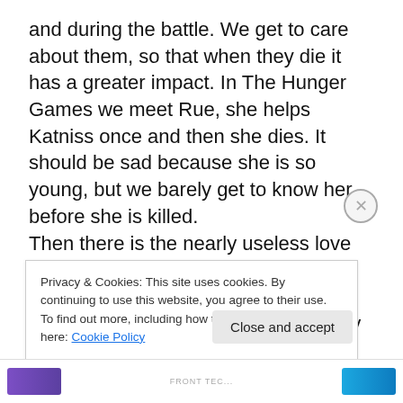and during the battle. We get to care about them, so that when they die it has a greater impact. In The Hunger Games we meet Rue, she helps Katniss once and then she dies. It should be sad because she is so young, but we barely get to know her before she is killed. Then there is the nearly useless love triangle. We are to believe that Peeta (Josh Hutcherson) has always loved Katniss, although this is hard to tell by his actions. However Katniss loves Gale (Liam Hemsworth), who together have no chemistry what-so-ever. We are supposed to be torn between Katniss' need to pretend to
Privacy & Cookies: This site uses cookies. By continuing to use this website, you agree to their use.
To find out more, including how to control cookies, see here: Cookie Policy